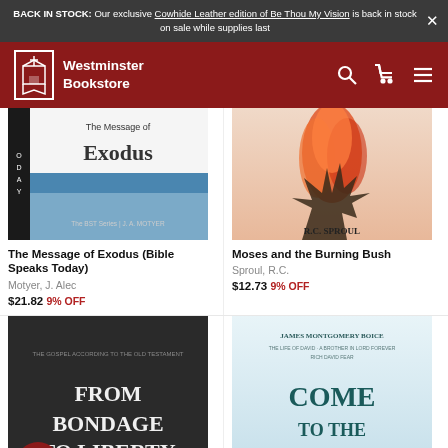BACK IN STOCK: Our exclusive Cowhide Leather edition of Be Thou My Vision is back in stock on sale while supplies last
[Figure (screenshot): Westminster Bookstore header logo with church/building icon in white border box on dark red background, with search, cart and menu icons]
[Figure (photo): Book cover: The Message of Exodus (Bible Speaks Today) - white and light blue cover with title text and author J.A. Motyer, with vertical black strip on left reading TODAY]
[Figure (photo): Book cover: Moses and the Burning Bush by R.C. Sproul - warm toned illustration of burning bush with flames, text R.C. SPROUL at bottom]
The Message of Exodus (Bible Speaks Today)
Motyer, J. Alec
$21.82 9% OFF
Moses and the Burning Bush
Sproul, R.C.
$12.73 9% OFF
[Figure (photo): Book cover: From Bondage to Liberty - dark/black cover with white text, subtitle 'The Gospel According to the Old Testament']
[Figure (photo): Book cover: Come to the Waters by James Montgomery Boice - light blue/white cover with large teal text 'COME TO THE WATERS']